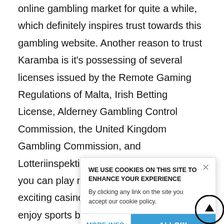online gambling market for quite a while, which definitely inspires trust towards this gambling website. Another reason to trust Karamba is it's possessing of several licenses issued by the Remote Gaming Regulations of Malta, Irish Betting License, Alderney Gambling Control Commission, the United Kingdom Gambling Commission, and Lotteriinspektionen. In Karamba casino, you can play not just different kinds of exciting casino games, but also you can enjoy sports betting, which definitely makes Karamba stand out among other internet gambling sites. For mo... registra... terms and co... design and us... contac... s
WE USE COOKIES ON THIS SITE TO ENHANCE YOUR EXPERIENCE
By clicking any link on the site you accept our cookie policy.
MORE INFO    ALLOW